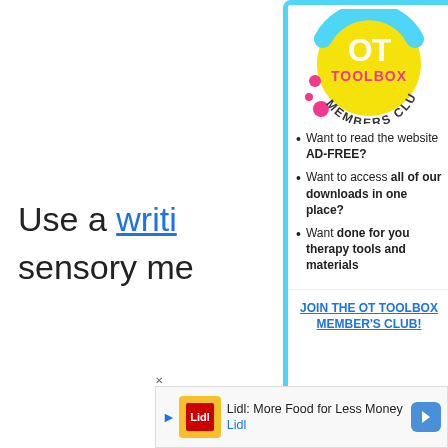Use a writing... sensory me...
[Figure (logo): OT Toolbox Members Club logo - circular yellow badge with pink and teal accents]
Want to read the website AD-FREE?
Want to access all of our downloads in one place?
Want done for you therapy tools and materials
JOIN THE OT TOOLBOX MEMBER'S CLUB!
As noted al... consistent verbal prompts when using gross motor cursive writing warm-up exercises
Don't...
[Figure (screenshot): Lidl advertisement banner - Lidl: More Food for Less Money]